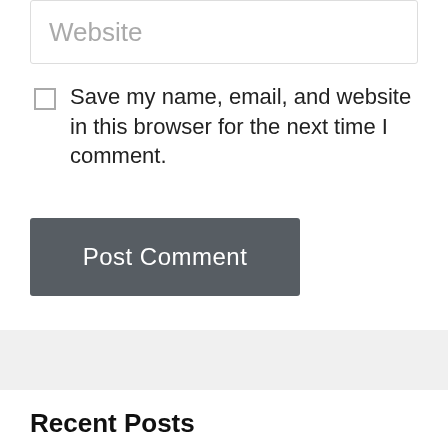Website
Save my name, email, and website in this browser for the next time I comment.
Post Comment
Recent Posts
What is Zoras current occupation  August 27, 2022
K POP supergroup BTS shocked fans by